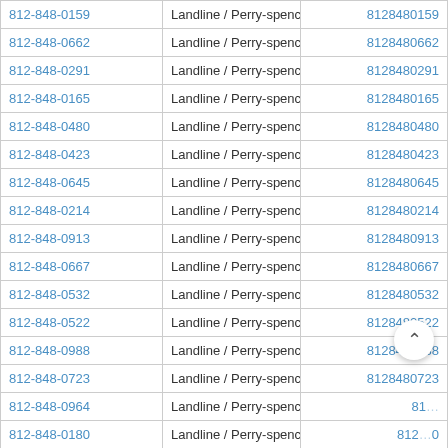| Phone | Type / Carrier | Digits |
| --- | --- | --- |
| 812-848-0159 | Landline / Perry-spencer Communications | 8128480159 |
| 812-848-0662 | Landline / Perry-spencer Communications | 8128480662 |
| 812-848-0291 | Landline / Perry-spencer Communications | 8128480291 |
| 812-848-0165 | Landline / Perry-spencer Communications | 8128480165 |
| 812-848-0480 | Landline / Perry-spencer Communications | 8128480480 |
| 812-848-0423 | Landline / Perry-spencer Communications | 8128480423 |
| 812-848-0645 | Landline / Perry-spencer Communications | 8128480645 |
| 812-848-0214 | Landline / Perry-spencer Communications | 8128480214 |
| 812-848-0913 | Landline / Perry-spencer Communications | 8128480913 |
| 812-848-0667 | Landline / Perry-spencer Communications | 8128480667 |
| 812-848-0532 | Landline / Perry-spencer Communications | 8128480532 |
| 812-848-0522 | Landline / Perry-spencer Communications | 8128480522 |
| 812-848-0988 | Landline / Perry-spencer Communications | 8128480988 |
| 812-848-0723 | Landline / Perry-spencer Communications | 8128480723 |
| 812-848-0964 | Landline / Perry-spencer Communications | 81… |
| 812-848-0180 | Landline / Perry-spencer Communications | 812…0 |
| 812-848-0973 | Landline / Perry-spencer Communications | 8128480973 |
| 812-848-0425 | Landline / Perry-spencer Communications | 8128480425 |